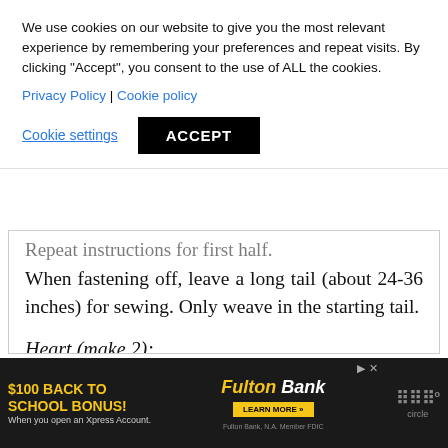We use cookies on our website to give you the most relevant experience by remembering your preferences and repeat visits. By clicking “Accept”, you consent to the use of ALL the cookies.
Privacy Policy | Cookie policy
Cookie settings   ACCEPT
Repeat instructions for first half.
When fastening off, leave a long tail (about 24-36 inches) for sewing. Only weave in the starting tail.
Heart (make 2):
[Figure (other): Advertisement banner: '$100 BACK TO SCHOOL BONUS! When you open an Xpress Account.' Fulton Bank logo with 'LEARN MORE' button. Powered by 'circle' logo on right.]